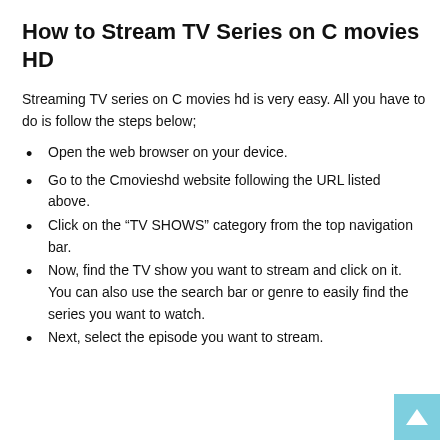How to Stream TV Series on C movies HD
Streaming TV series on C movies hd is very easy. All you have to do is follow the steps below;
Open the web browser on your device.
Go to the Cmovieshd website following the URL listed above.
Click on the “TV SHOWS” category from the top navigation bar.
Now, find the TV show you want to stream and click on it. You can also use the search bar or genre to easily find the series you want to watch.
Next, select the episode you want to stream.